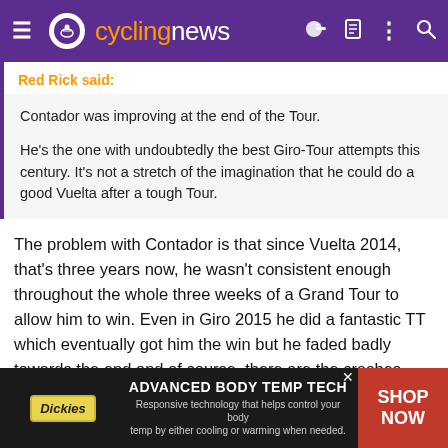cyclingnews
Red Rick said:
Contador was improving at the end of the Tour.

He's the one with undoubtedly the best Giro-Tour attempts this century. It's not a stretch of the imagination that he could do a good Vuelta after a tough Tour.
The problem with Contador is that since Vuelta 2014, that's three years now, he wasn't consistent enough throughout the whole three weeks of a Grand Tour to allow him to win. Even in Giro 2015 he did a fantastic TT which eventually got him the win but he faded badly towards the end and of course, there are the crashes which seem as unavoidable as an Albasini stage win in Romandie. I doubt that the stars will align for him one last time but that doesn't mean he is not capable of contesting for the win, he will be in the mix.
[Figure (other): Dickies advertisement banner: ADVANCED BODY TEMP TECH - Responsive technology that helps control your body temp by either cooling or warming when needed. SHOP NOW]